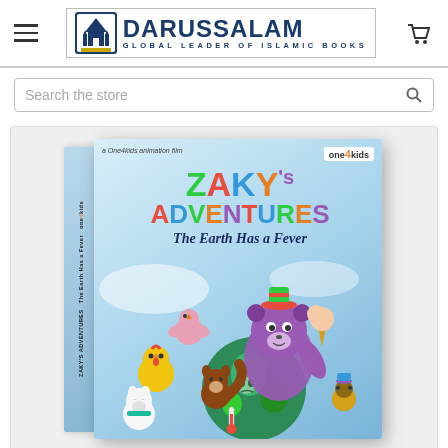DARUSSALAM — GLOBAL LEADER OF ISLAMIC BOOKS
Search the store
[Figure (photo): DVD cover of 'Zaky's Adventures: The Earth Has a Fever', a One4kids animation film, showing colorful cartoon characters including a purple bear/otter holding an ice cream, cartoon birds, a squirrel, a chicken, and a sick globe with a thermometer. The DVD has a spine on the left.]